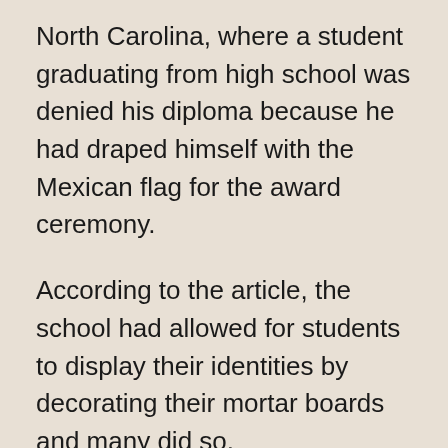North Carolina, where a student graduating from high school was denied his diploma because he had draped himself with the Mexican flag for the award ceremony.
According to the article, the school had allowed for students to display their identities by decorating their mortar boards and many did so.
The student in question was breaking with protocol by draping himself in the Mexican flag.
He is the son of Mexican immigrants but was born in this country. In the aftermath, he was